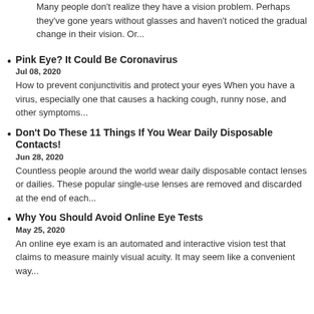Many people don't realize they have a vision problem. Perhaps they've gone years without glasses and haven't noticed the gradual change in their vision. Or...
Pink Eye? It Could Be Coronavirus
Jul 08, 2020
How to prevent conjunctivitis and protect your eyes When you have a virus, especially one that causes a hacking cough, runny nose, and other symptoms...
Don't Do These 11 Things If You Wear Daily Disposable Contacts!
Jun 28, 2020
Countless people around the world wear daily disposable contact lenses or dailies. These popular single-use lenses are removed and discarded at the end of each...
Why You Should Avoid Online Eye Tests
May 25, 2020
An online eye exam is an automated and interactive vision test that claims to measure mainly visual acuity. It may seem like a convenient way...